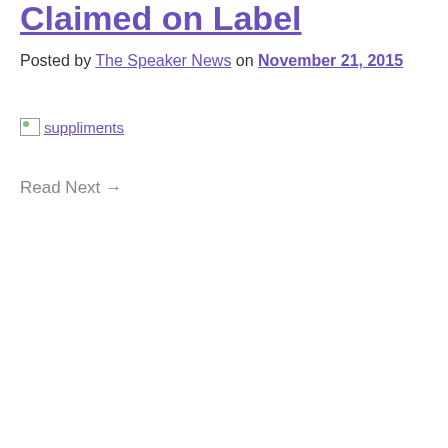Claimed on Label
Posted by The Speaker News on November 21, 2015
[Figure (photo): Broken image placeholder labeled 'suppliments']
Read Next →